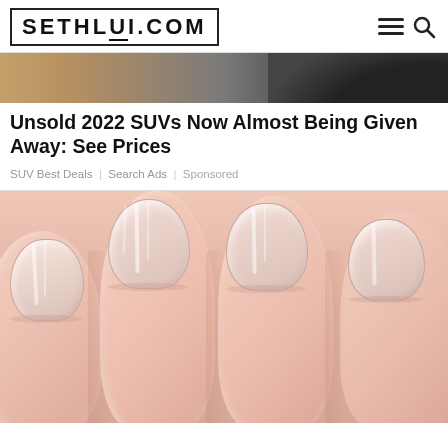SETHLUI.COM
[Figure (photo): Partial photo of a vehicle, cropped at top showing tire/wheel area on sandy/dark background]
Unsold 2022 SUVs Now Almost Being Given Away: See Prices
SUV Best Deals | Search Ads | Sponsored
[Figure (photo): Close-up macro photo of four human fingernails/fingers on a light pink skin background]